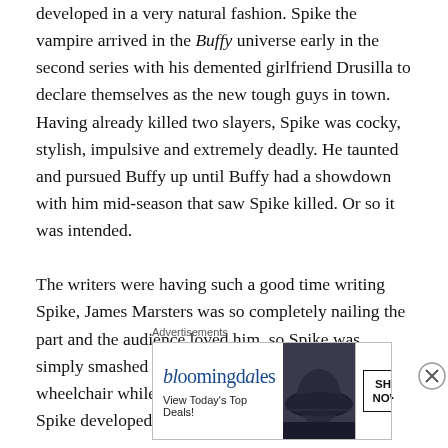developed in a very natural fashion. Spike the vampire arrived in the Buffy universe early in the second series with his demented girlfriend Drusilla to declare themselves as the new tough guys in town. Having already killed two slayers, Spike was cocky, stylish, impulsive and extremely deadly. He taunted and pursued Buffy up until Buffy had a showdown with him mid-season that saw Spike killed. Or so it was intended.

The writers were having such a good time writing Spike, James Marsters was so completely nailing the part and the audience loved him, so Spike was simply smashed to a pulp and confined to a wheelchair while Angelus and Drusilla tear shit up. Spike developed through the rest of
Advertisements
[Figure (other): Bloomingdale's advertisement banner with logo, 'View Today's Top Deals!' tagline, woman wearing a large navy hat, and a 'SHOP NOW >' button]